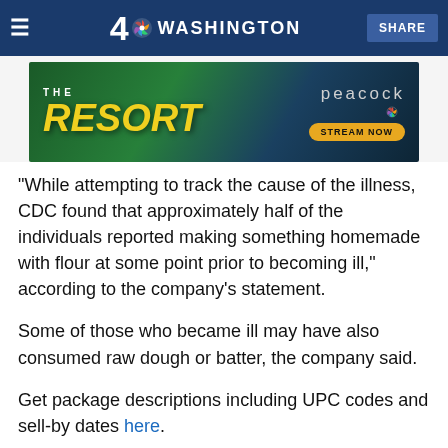NBC4 Washington
[Figure (screenshot): Advertisement banner for 'The Resort' on Peacock streaming service with 'Stream Now' button]
While attempting to track the cause of the illness, CDC found that approximately half of the individuals reported making something homemade with flour at some point prior to becoming ill," according to the company's statement.
Some of those who became ill may have also consumed raw dough or batter, the company said.
Get package descriptions including UPC codes and sell-by dates here.
Copyright AP - Associated Press